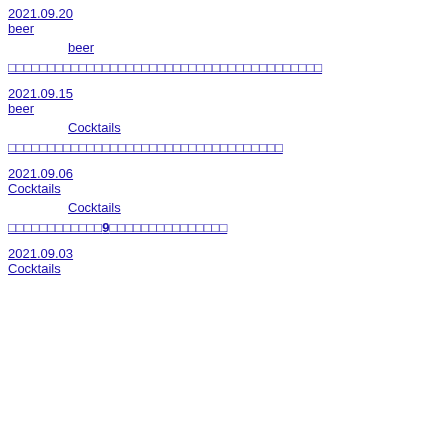2021.09.20
beer
beer
□□□□□□□□□□□□□□□□□□□□□□□□□□□□□□□□□□□□□□□□
2021.09.15
beer
Cocktails
□□□□□□□□□□□□□□□□□□□□□□□□□□□□□□□□□□□
2021.09.06
Cocktails
Cocktails
□□□□□□□□□□□□9□□□□□□□□□□□□□□□
2021.09.03
Cocktails